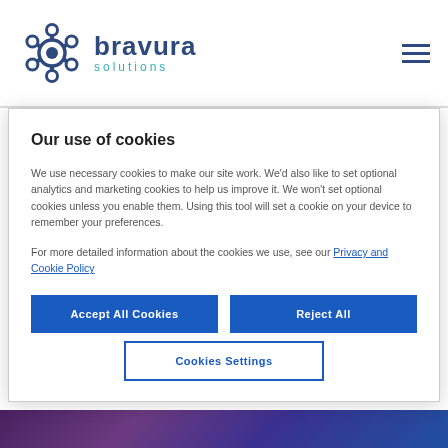bravura solutions
pipeline and significant operating leverage, we head into the
Our use of cookies
We use necessary cookies to make our site work. We'd also like to set optional analytics and marketing cookies to help us improve it. We won't set optional cookies unless you enable them. Using this tool will set a cookie on your device to remember your preferences.
For more detailed information about the cookies we use, see our Privacy and Cookie Policy
Accept All Cookies
Reject All
Cookies Settings